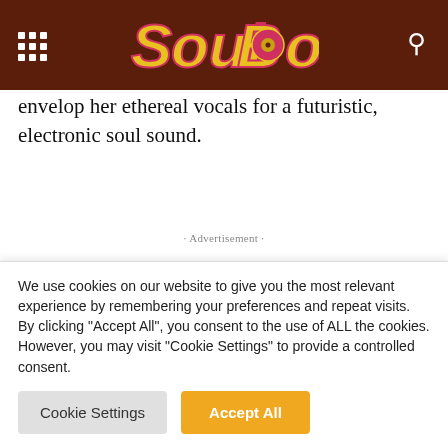SoulBounce
envelop her ethereal vocals for a futuristic, electronic soul sound.
· Advertisement ·
For the song's video, she puts on her director's hat as she collaborates with Thu Tran for visuals that are nothing short of eye-popping. Witness Tiombe caked from head to
We use cookies on our website to give you the most relevant experience by remembering your preferences and repeat visits. By clicking "Accept All", you consent to the use of ALL the cookies. However, you may visit "Cookie Settings" to provide a controlled consent.